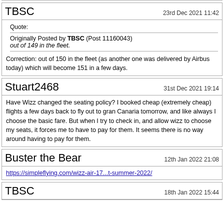TBSC  23rd Dec 2021 11:42
Quote:
Originally Posted by TBSC (Post 11160043)
out of 149 in the fleet.
Correction: out of 150 in the fleet (as another one was delivered by Airbus today) which will become 151 in a few days.
Stuart2468  31st Dec 2021 19:14
Have Wizz changed the seating policy? I booked cheap (extremely cheap) flights a few days back to fly out to gran Canaria tomorrow, and like always I choose the basic fare. But when I try to check in, and allow wizz to choose my seats, it forces me to have to pay for them. It seems there is no way around having to pay for them.
Buster the Bear  12th Jan 2022 21:08
https://simpleflying.com/wizz-air-17...t-summer-2022/
TBSC  18th Jan 2022 15:44